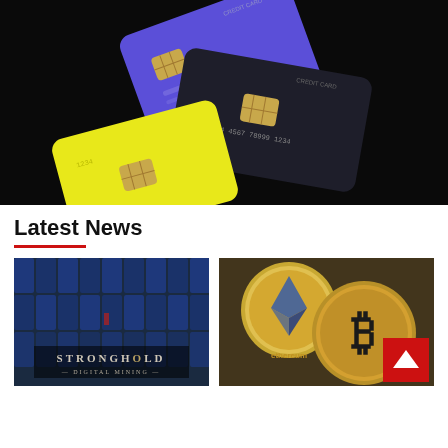[Figure (photo): Three credit cards (purple, dark/black, and yellow) fanned out on a black background, each showing a gold chip.]
Latest News
[Figure (photo): Stronghold Digital Mining logo/sign with rows of mining rigs in the background.]
[Figure (photo): Gold Ethereum and Bitcoin coins close-up on a surface, with a red 'back to top' arrow button overlay.]